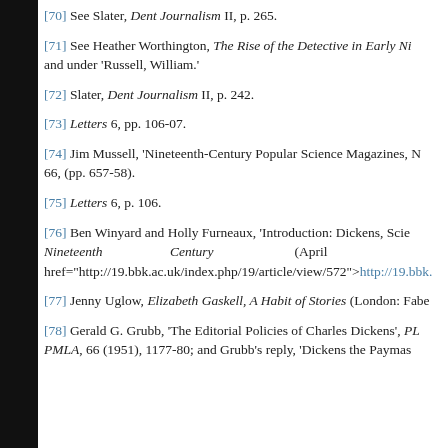[70] See Slater, Dent Journalism II, p. 265.
[71] See Heather Worthington, The Rise of the Detective in Early Ni... and under 'Russell, William.'
[72] Slater, Dent Journalism II, p. 242.
[73] Letters 6, pp. 106-07.
[74] Jim Mussell, 'Nineteenth-Century Popular Science Magazines, N... 66, (pp. 657-58).
[75] Letters 6, p. 106.
[76] Ben Winyard and Holly Furneaux, 'Introduction: Dickens, Scie... Nineteenth Century (April href="http://19.bbk.ac.uk/index.php/19/article/view/572">http://19.bbk...
[77] Jenny Uglow, Elizabeth Gaskell, A Habit of Stories (London: Fabe...
[78] Gerald G. Grubb, 'The Editorial Policies of Charles Dickens', PL... PMLA, 66 (1951), 1177-80; and Grubb's reply, 'Dickens the Paymas...